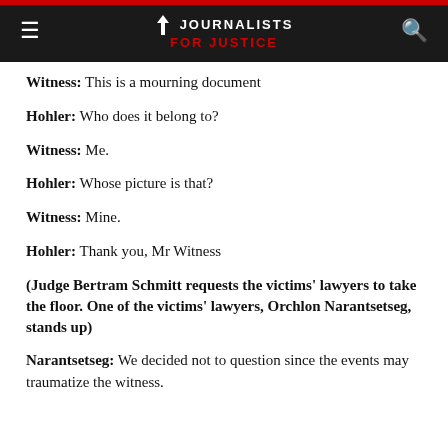JOURNALISTS FOR JUSTICE
Witness: This is a mourning document
Hohler: Who does it belong to?
Witness: Me.
Hohler: Whose picture is that?
Witness: Mine.
Hohler: Thank you, Mr Witness
(Judge Bertram Schmitt requests the victims' lawyers to take the floor. One of the victims' lawyers, Orchlon Narantsetseg, stands up)
Narantsetseg: We decided not to question since the events may traumatize the witness.